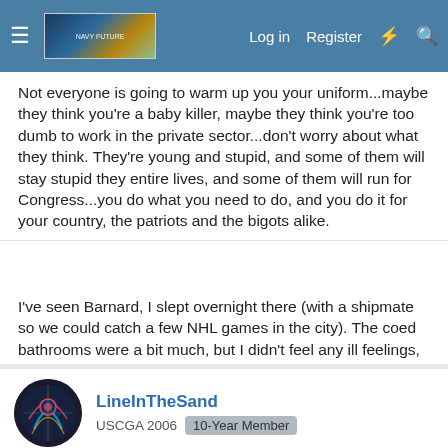Navigation bar with hamburger menu, logo, Log in, Register, and search icons
Not everyone is going to warm up you your uniform...maybe they think you're a baby killer, maybe they think you're too dumb to work in the private sector...don't worry about what they think. They're young and stupid, and some of them will stay stupid they entire lives, and some of them will run for Congress...you do what you need to do, and you do it for your country, the patriots and the bigots alike.
I've seen Barnard, I slept overnight there (with a shipmate so we could catch a few NHL games in the city). The coed bathrooms were a bit much, but I didn't feel any ill feelings, and we both showed up in uniform and slept on the floor of a HS classmate's room.
LineInTheSand
USCGA 2006   10-Year Member